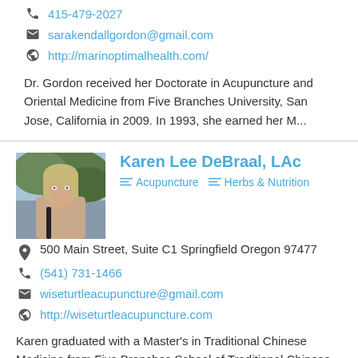415-479-2027
sarakendallgordon@gmail.com
http://marinoptimalhealth.com/
Dr. Gordon received her Doctorate in Acupuncture and Oriental Medicine from Five Branches University, San Jose, California in 2009. In 1993, she earned her M...
Karen Lee DeBraal, LAc
Acupuncture   Herbs & Nutrition
500 Main Street, Suite C1 Springfield Oregon 97477
(541) 731-1466
wiseturtleacupuncture@gmail.com
http://wiseturtleacupuncture.com
Karen graduated with a Master's in Traditional Chinese Medicine from Five Branches School of Traditional Chinese Medicine in Santa Cruz...